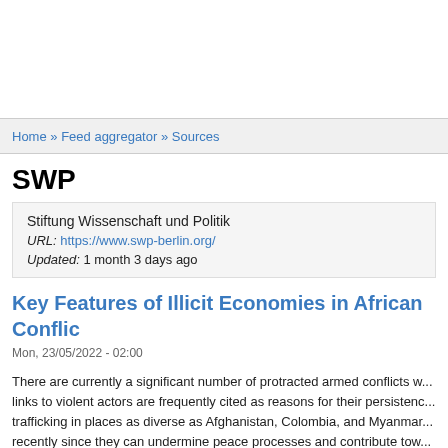Home » Feed aggregator » Sources
SWP
Stiftung Wissenschaft und Politik
URL: https://www.swp-berlin.org/
Updated: 1 month 3 days ago
Key Features of Illicit Economies in African Conflic
Mon, 23/05/2022 - 02:00
There are currently a significant number of protracted armed conflicts w... links to violent actors are frequently cited as reasons for their persistenc... trafficking in places as diverse as Afghanistan, Colombia, and Myanmar... recently since they can undermine peace processes and contribute tow... Nevertheless, it is particularly difficult to grasp the situation in conflict zo...